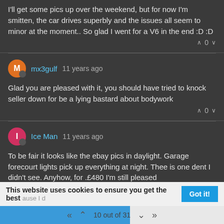I'll get some pics up over the weekend, but for now I'm smitten, the car drives superbly and the issues all seem to minor at the moment.. So glad I went for a V6 in the end :D :D
mx3gulf 11 years ago
Glad you are pleased with it, you should have tried to knock seller down for be a lying bastard about bodywork
Ice Man 11 years ago
To be fair it looks like the ebay pics in daylight. Garage forecourt lights pick up everything at night. Thee is one dent I didn't see. Anyhow, for .£480 I'm still pleased :):):):):):):):):):):):):):):)
Picked up a key today from the local locksmith £25. Just go disconnect the aftermarket alarm right on mobile's because I d trust it.
This website uses cookies to ensure you get the best
10 out of 31